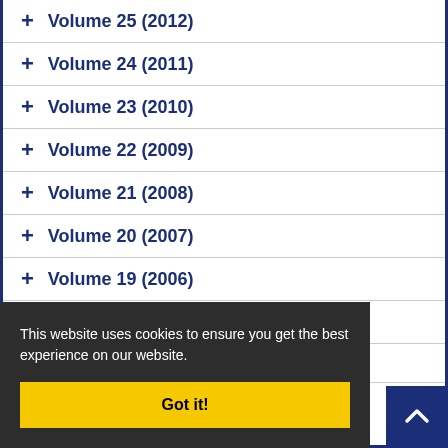+ Volume 25 (2012)
+ Volume 24 (2011)
+ Volume 23 (2010)
+ Volume 22 (2009)
+ Volume 21 (2008)
+ Volume 20 (2007)
+ Volume 19 (2006)
+ Volume 18 (2005)
This website uses cookies to ensure you get the best experience on our website.
Got it!
+ Volume 17 (2000-)